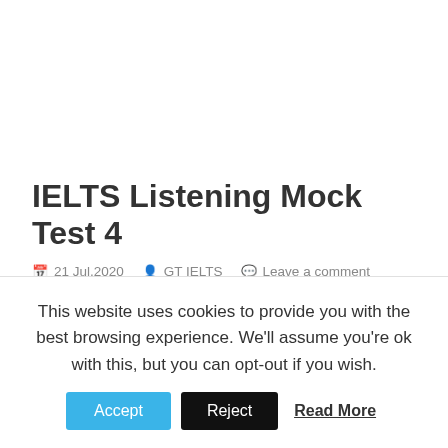IELTS Listening Mock Test 4
21 Jul,2020  GT IELTS  Leave a comment
Listening Audio: [Click the play button to start the audio]
This website uses cookies to provide you with the best browsing experience. We'll assume you're ok with this, but you can opt-out if you wish.